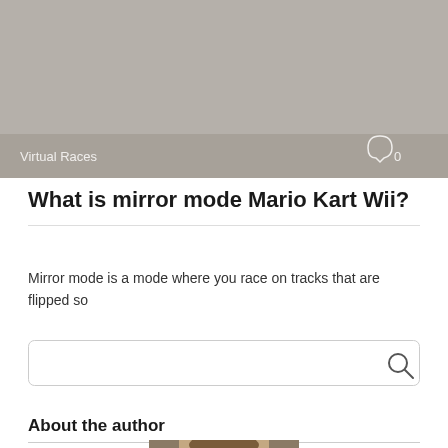[Figure (photo): Gray/brownish banner image at the top of the page with a semi-transparent overlay bar at the bottom showing 'Virtual Races' text and a comment icon with '0']
What is mirror mode Mario Kart Wii?
Mirror mode is a mode where you race on tracks that are flipped so
[Figure (other): Search input box with a magnifying glass icon on the right]
About the author
[Figure (photo): Partial photo of a person (author) with brown hair, outdoors background]